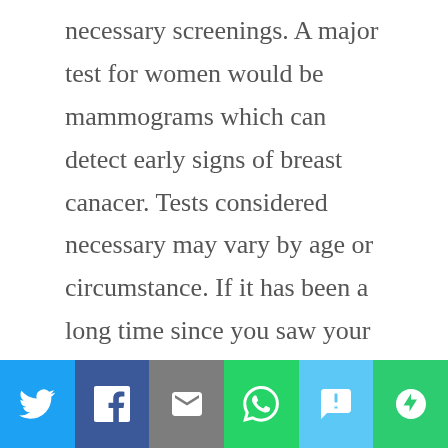necessary screenings. A major test for women would be mammograms which can detect early signs of breast canacer.  Tests considered necessary may vary by age or circumstance.   If it has been a long time since you saw your dentist or eye doctor, don't ignore the notice that now is the time to schedule appointments.
[Figure (other): Social media share bar with icons for Twitter, Facebook, Email, WhatsApp, SMS, and More]